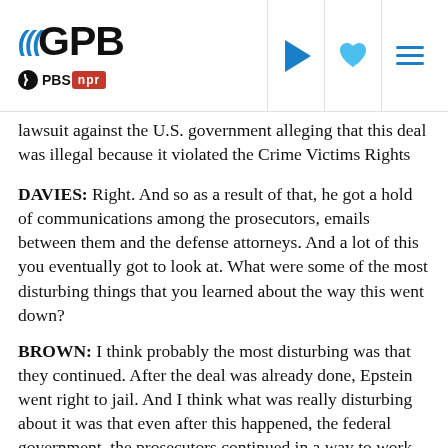GPB | PBS | NPR
lawsuit against the U.S. government alleging that this deal was illegal because it violated the Crime Victims Rights Act.
DAVIES: Right. And so as a result of that, he got a hold of communications among the prosecutors, emails between them and the defense attorneys. And a lot of this you eventually got to look at. What were some of the most disturbing things that you learned about the way this went down?
BROWN: I think probably the most disturbing was that they continued. After the deal was already done, Epstein went right to jail. And I think what was really disturbing about it was that even after this happened, the federal government, the prosecutors continued in a way to work with Epstein against Brad Edwards, the attorney representing the victims, and trying to make all these legal arguments - that, No. 1, these weren't really victims.